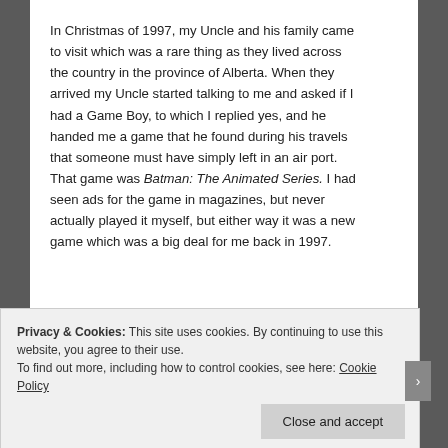In Christmas of 1997, my Uncle and his family came to visit which was a rare thing as they lived across the country in the province of Alberta. When they arrived my Uncle started talking to me and asked if I had a Game Boy, to which I replied yes, and he handed me a game that he found during his travels that someone must have simply left in an air port. That game was Batman: The Animated Series. I had seen ads for the game in magazines, but never actually played it myself, but either way it was a new game which was a big deal for me back in 1997.
Privacy & Cookies: This site uses cookies. By continuing to use this website, you agree to their use.
To find out more, including how to control cookies, see here: Cookie Policy
Close and accept